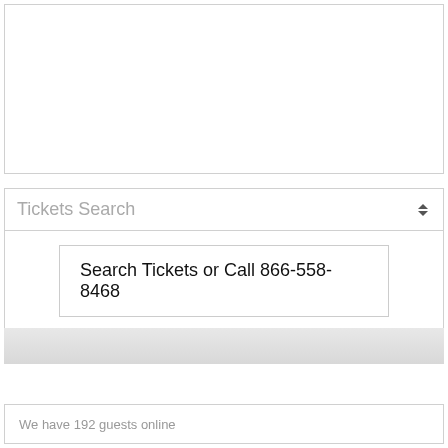[Figure (screenshot): Empty white box with border at top of page]
Tickets Search
Search Tickets or Call 866-558-8468
[Figure (screenshot): Gray gradient bar]
We have 192 guests online